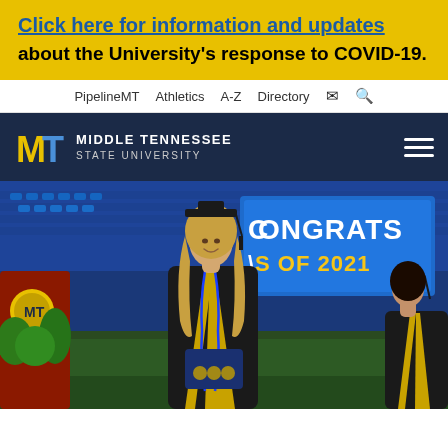Click here for information and updates about the University's response to COVID-19.
PipelineMT   Athletics   A-Z   Directory
[Figure (logo): Middle Tennessee State University logo with MT letters in blue and gold on dark navy header bar]
[Figure (photo): A female graduate in black cap and gown with gold and blue honor cords, holding a blue diploma cover, smiling at a graduation ceremony. Behind her a large screen reads 'CONGRATS CLASS OF 2021'. Other graduates and decorated stage visible in background.]